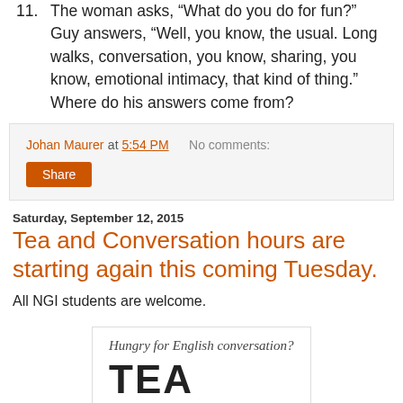11. The woman asks, “What do you do for fun?” Guy answers, “Well, you know, the usual. Long walks, conversation, you know, sharing, you know, emotional intimacy, that kind of thing.” Where do his answers come from?
Johan Maurer at 5:54 PM   No comments:
Share
Saturday, September 12, 2015
Tea and Conversation hours are starting again this coming Tuesday.
All NGI students are welcome.
[Figure (illustration): Promotional image with text 'Hungry for English conversation?' and large bold text 'TEA']